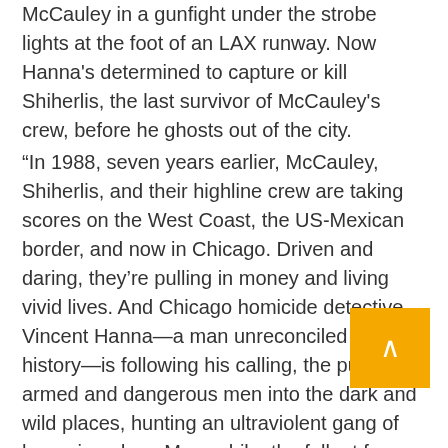McCauley in a gunfight under the strobe lights at the foot of an LAX runway. Now Hanna's determined to capture or kill Shiherlis, the last survivor of McCauley's crew, before he ghosts out of the city.
“In 1988, seven years earlier, McCauley, Shiherlis, and their highline crew are taking scores on the West Coast, the US-Mexican border, and now in Chicago. Driven and daring, they’re pulling in money and living vivid lives. And Chicago homicide detective Vincent Hanna—a man unreconciled with his history—is following his calling, the pursuit of armed and dangerous men into the dark and wild places, hunting an ultraviolent gang of home invaders. Meanwhile, the fallout from McCauley’s scores and Hanna’s pursuit cause unexpected repercussions in a parallel narrative, driving through the years following Heat.”